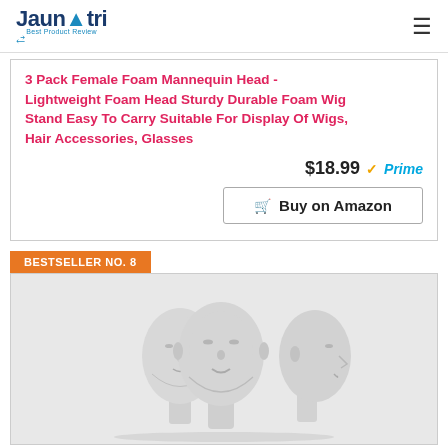Jaunatri Best Product Review — navigation header with hamburger menu
3 Pack Female Foam Mannequin Head - Lightweight Foam Head Sturdy Durable Foam Wig Stand Easy To Carry Suitable For Display Of Wigs, Hair Accessories, Glasses
$18.99 Prime
Buy on Amazon
BESTSELLER NO. 8
[Figure (photo): Three white foam female mannequin heads displayed together, showing front and side profiles]